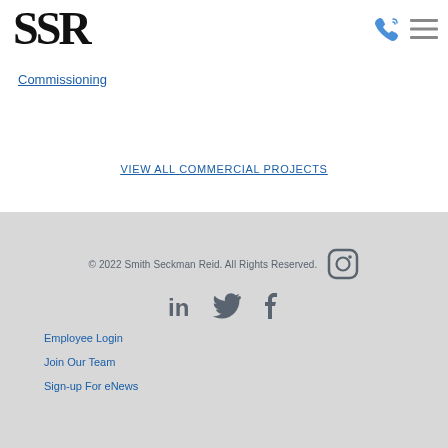SSR logo, phone icon, menu icon
Commissioning
VIEW ALL COMMERCIAL PROJECTS
© 2022 Smith Seckman Reid. All Rights Reserved. [Instagram] [LinkedIn] [Twitter] [Facebook] Employee Login | Join Our Team | Sign-up For eNews